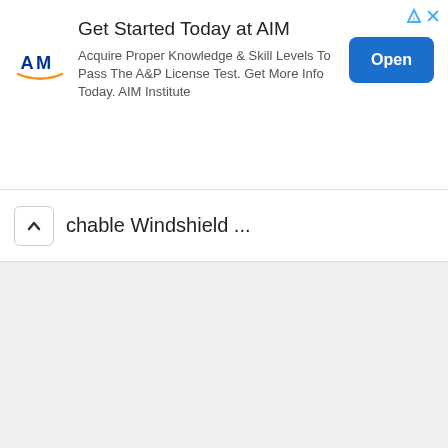[Figure (screenshot): Advertisement banner for AIM Institute. Shows AIM logo (blue letters with orange swoosh), title 'Get Started Today at AIM', body text 'Acquire Proper Knowledge & Skill Levels To Pass The A&P License Test. Get More Info Today. AIM Institute', and a blue 'Open' button on the right.]
chable Windshield ...
[Figure (screenshot): Large empty light gray content area below the collapsed section bar, representing a loading or blank content region.]